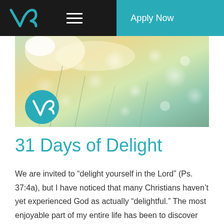V3 | Apply Now
[Figure (photo): Bokeh/rain drops photo with light flares and grass/plant stems in background, with V3 teal circle logo overlaid at bottom left]
31 Days of Delight
We are invited to “delight yourself in the Lord” (Ps. 37:4a), but I have noticed that many Christians haven’t yet experienced God as actually “delightful.” The most enjoyable part of my entire life has been to discover new